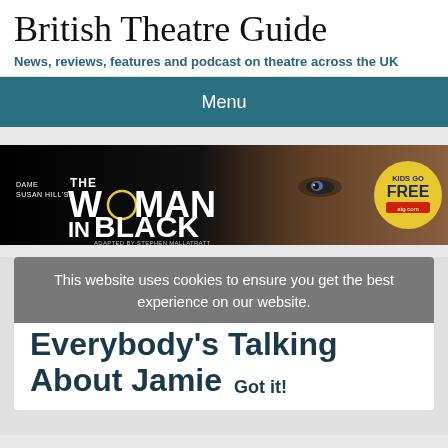British Theatre Guide
News, reviews, features and podcast on theatre across the UK
Menu
[Figure (photo): Advertisement banner for 'The Woman in Black' stage show. Dark background with a close-up of eyes on the right. Text reads: DAME SUSAN HILL'S THE WOMAN IN BLACK adapted by STEPHEN MALLATRATT. Yellow badge on the right reads KIDS GO FREE.]
This website uses cookies to ensure you get the best experience on our website.
Everybody's Talking About Jamie
Got it!